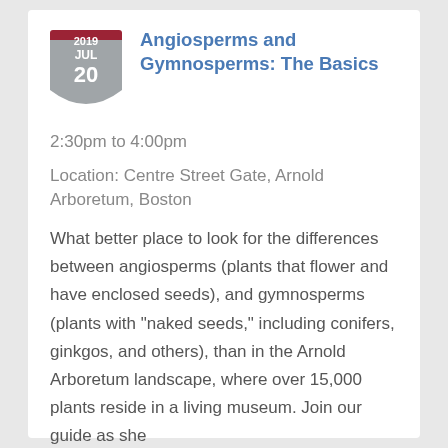Angiosperms and Gymnosperms: The Basics
2:30pm to 4:00pm
Location: Centre Street Gate, Arnold Arboretum, Boston
What better place to look for the differences between angiosperms (plants that flower and have enclosed seeds), and gymnosperms (plants with "naked seeds," including conifers, ginkgos, and others), than in the Arnold Arboretum landscape, where over 15,000 plants reside in a living museum. Join our guide as she